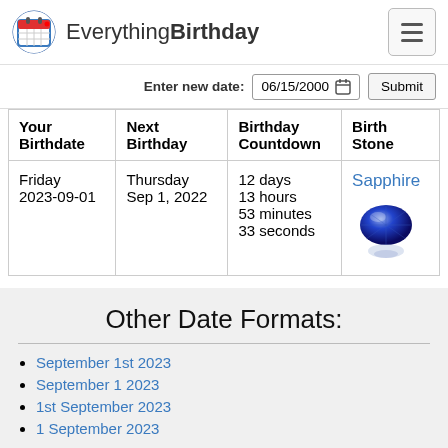EverythingBirthday
Enter new date: 06/15/2000  Submit
| Your Birthdate | Next Birthday | Birthday Countdown | Birth Stone |
| --- | --- | --- | --- |
| Friday
2023-09-01 | Thursday
Sep 1, 2022 | 12 days
13 hours
53 minutes
33 seconds | Sapphire [gem image] |
Other Date Formats:
September 1st 2023
September 1 2023
1st September 2023
1 September 2023